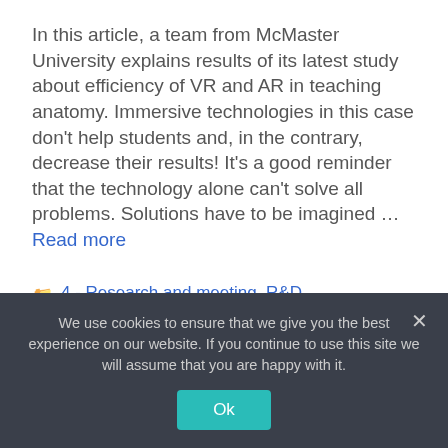In this article, a team from McMaster University explains results of its latest study about efficiency of VR and AR in teaching anatomy. Immersive technologies in this case don't help students and, in the contrary, decrease their results! It's a good reminder that the technology alone can't solve all problems. Solutions have to be imagined … Read more
4 - Research and meeting, R&D
anatomy, bad results, efficiency, english,
We use cookies to ensure that we give you the best experience on our website. If you continue to use this site we will assume that you are happy with it.